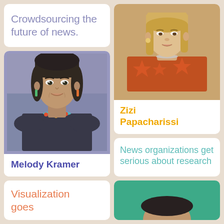Crowdsourcing the future of news.
[Figure (photo): Portrait photo of Zizi Papacharissi, blonde woman in orange/red patterned top]
Zizi Papacharissi
[Figure (photo): Portrait photo of Melody Kramer, dark-haired woman with colorful necklace]
Melody Kramer
News organizations get serious about research
Visualization goes
[Figure (photo): Partial portrait on teal/green background, top of head visible]